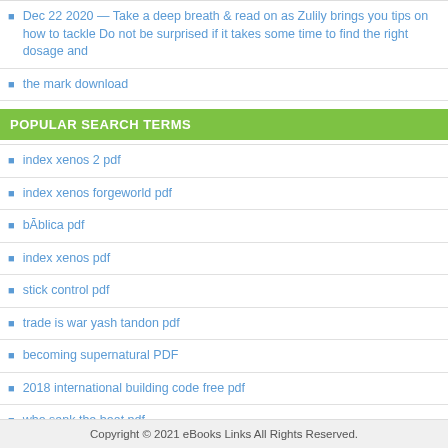Dec 22 2020 — Take a deep breath & read on as Zulily brings you tips on how to tackle Do not be surprised if it takes some time to find the right dosage and
the mark download
POPULAR SEARCH TERMS
index xenos 2 pdf
index xenos forgeworld pdf
bĀblica pdf
index xenos pdf
stick control pdf
trade is war yash tandon pdf
becoming supernatural PDF
2018 international building code free pdf
who sank the boat pdf
came to believe pdf
Copyright © 2021 eBooks Links All Rights Reserved.